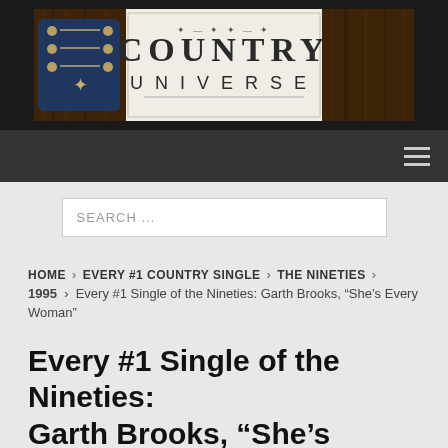[Figure (logo): Country Universe website logo banner showing a guitar headstock on the left against wood background, with 'COUNTRY UNIVERSE' text in vintage western typography on a white fabric/paper center.]
[Figure (other): Dark navigation bar with hamburger menu icon (three horizontal lines) on the right side.]
[Figure (other): Search bar input field with placeholder text 'SEARCH ...' on a light grey background.]
HOME > EVERY #1 COUNTRY SINGLE > THE NINETIES > 1995 > Every #1 Single of the Nineties: Garth Brooks, “She’s Every Woman”
Every #1 Single of the Nineties: Garth Brooks, “She’s Every Woman”